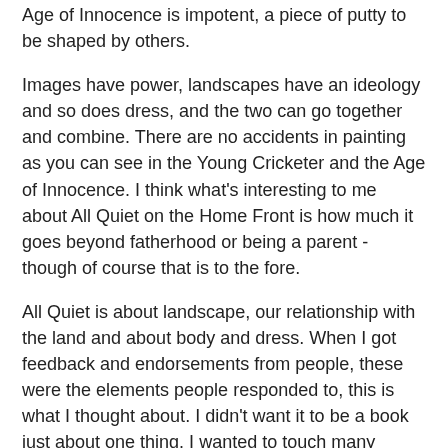Age of Innocence is impotent, a piece of putty to be shaped by others.
Images have power, landscapes have an ideology and so does dress, and the two can go together and combine. There are no accidents in painting as you can see in the Young Cricketer and the Age of Innocence. I think what's interesting to me about All Quiet on the Home Front is how much it goes beyond fatherhood or being a parent - though of course that is to the fore.
All Quiet is about landscape, our relationship with the land and about body and dress. When I got feedback and endorsements from people, these were the elements people responded to, this is what I thought about. I didn't want it to be a book just about one thing. I wanted to touch many bases.
One of the people I am really grateful to for sending an endorsement is Alessia Glavianno of Vogue Italia. I've taught on Fashion courses and I developed an appreciation of the history of fashion and dress and the way that the best of